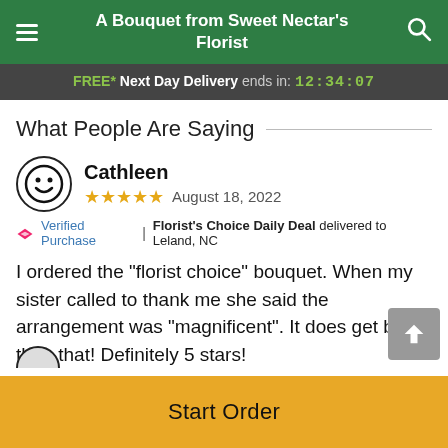A Bouquet from Sweet Nectar's Florist
FREE* Next Day Delivery ends in: 12:34:07
What People Are Saying
Cathleen
★★★★☆ August 18, 2022
🏷 Verified Purchase | Florist's Choice Daily Deal delivered to Leland, NC
I ordered the "florist choice" bouquet. When my sister called to thank me she said the arrangement was "magnificent". It does get better than that! Definitely 5 stars!
Start Order